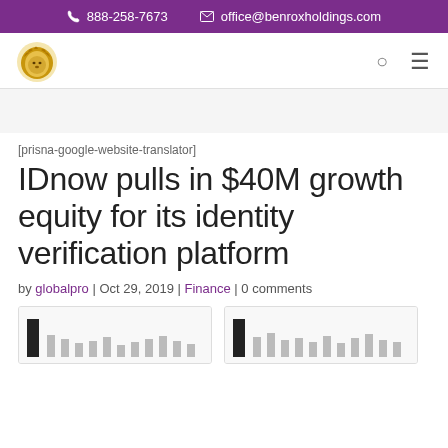📞 888-258-7673   ✉ office@benroxholdings.com
[Figure (logo): Benrox Holdings lion logo — golden lion head illustration]
[prisna-google-website-translator]
IDnow pulls in $40M growth equity for its identity verification platform
by globalpro | Oct 29, 2019 | Finance | 0 comments
[Figure (screenshot): Two partial chart thumbnail images at the bottom of the page]